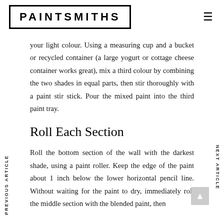PAINTSMITHS
your light colour. Using a measuring cup and a bucket or recycled container (a large yogurt or cottage cheese container works great), mix a third colour by combining the two shades in equal parts, then stir thoroughly with a paint stir stick. Pour the mixed paint into the third paint tray.
Roll Each Section
Roll the bottom section of the wall with the darkest shade, using a paint roller. Keep the edge of the paint about 1 inch below the lower horizontal pencil line. Without waiting for the paint to dry, immediately roll the middle section with the blended paint, then